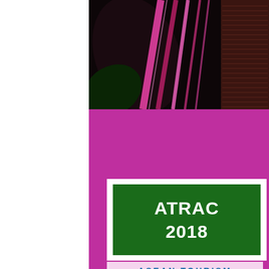[Figure (photo): Close-up photo of tropical plant stems/leaves with vibrant pink/magenta striped patterns against dark background, positioned in upper right portion of cover page]
ATRAC 2018
ASEAN TOURISM